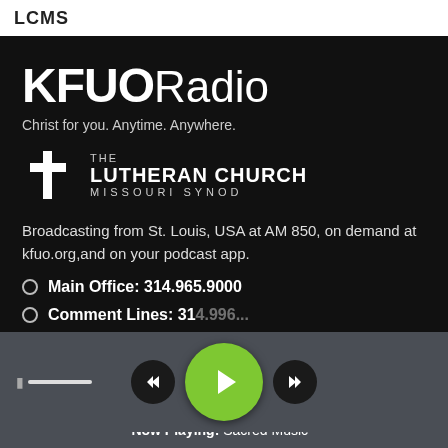LCMS
[Figure (logo): KFUO Radio logo with tagline 'Christ for you. Anytime. Anywhere.' and The Lutheran Church Missouri Synod cross logo]
Broadcasting from St. Louis, USA at AM 850, on demand at kfuo.org,and on your podcast app.
Main Office: 314.965.9000
Comment Lines: 314.996....
[Figure (screenshot): Media player controls bar with volume slider, previous button, large green play button, and next button]
Now Playing: Sacred Music -